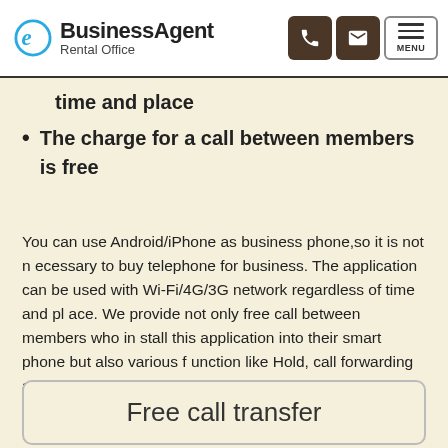BusinessAgent Rental Office
time and place
The charge for a call between members is free
You can use Android/iPhone as business phone,so it is not necessary to buy telephone for business. The application can be used with Wi-Fi/4G/3G network regardless of time and place. We provide not only free call between members who install this application into their smart phone but also various function like Hold, call forwarding and so on.
Free call transfer